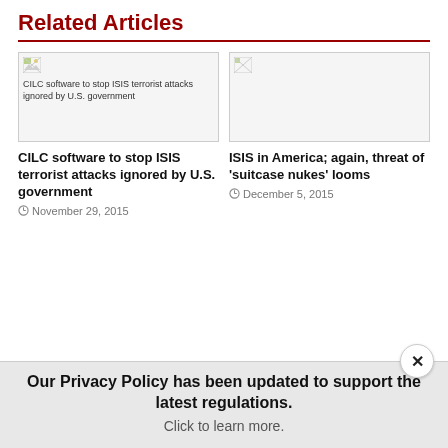Related Articles
[Figure (photo): Broken image placeholder for: CILC software to stop ISIS terrorist attacks ignored by U.S. government]
[Figure (photo): Broken image placeholder (second article)]
CILC software to stop ISIS terrorist attacks ignored by U.S. government
November 29, 2015
ISIS in America; again, threat of ‘suitcase nukes’ looms
December 5, 2015
Our Privacy Policy has been updated to support the latest regulations. Click to learn more.